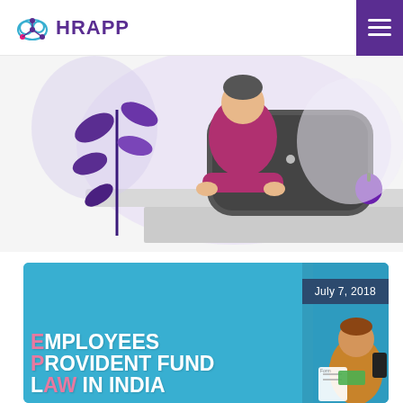HRAPP
[Figure (illustration): Flat illustration of a person in a pink/maroon shirt working at a desk with a large dark monitor, purple decorative plant leaves, a purple apple, on a light background with a rounded light purple blob shape behind.]
[Figure (illustration): Card with blue background showing date 'July 7, 2018' in a dark navy box, and large white bold text reading 'EMPLOYEES PROVIDENT FUND LAW IN INDIA' partially cropped on the left, with a cartoon figure of a man holding papers/money on the right side.]
July 7, 2018
EMPLOYEES PROVIDENT FUND LAW IN INDIA